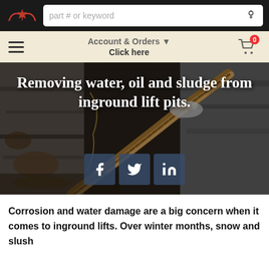part # or keyword
[Figure (logo): Canadian auto parts retailer logo — red maple leaf / wing emblem on dark background]
Account & Orders ▼
Click here
[Figure (photo): Close-up industrial photo of a corroded inground lift pit with a hydraulic hose/cable being inserted, greasy and dirty metal surfaces]
Removing water, oil and sludge from inground lift pits.
Corrosion and water damage are a big concern when it comes to inground lifts. Over winter months, snow and slush